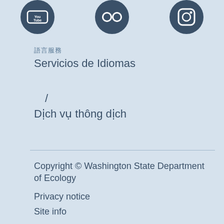[Figure (logo): Three social media icon circles in a row: YouTube, Flickr, and Instagram, rendered in dark navy blue on light blue background]
語言服務
Servicios de Idiomas
/
Dịch vụ thông dịch
Copyright © Washington State Department of Ecology
Privacy notice
Site info